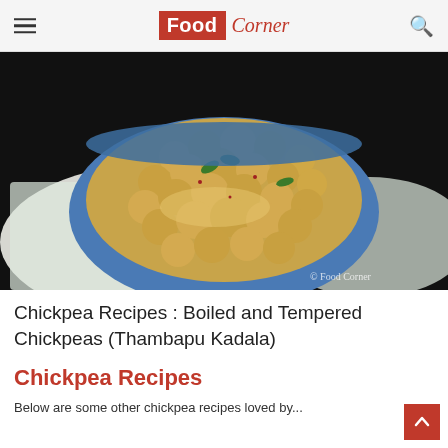Food Corner
[Figure (photo): A blue bowl filled with boiled and tempered chickpeas (Thambapu Kadala) garnished with curry leaves and spices, placed on a white cloth with blue floral pattern. Watermark: © Food Corner]
Chickpea Recipes : Boiled and Tempered Chickpeas (Thambapu Kadala)
Chickpea Recipes
Below are some other chickpea recipes loved by...